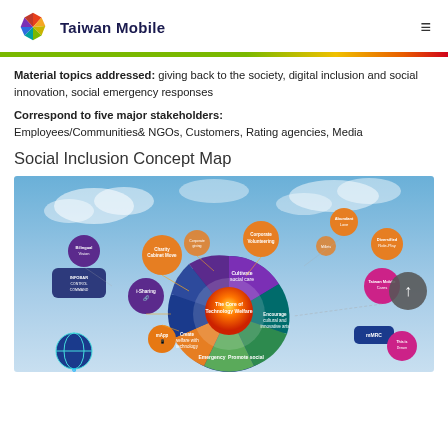Taiwan Mobile
Material topics addressed: giving back to the society, digital inclusion and social innovation, social emergency responses
Correspond to five major stakeholders: Employees/Communities& NGOs, Customers, Rating agencies, Media
Social Inclusion Concept Map
[Figure (infographic): Social Inclusion Concept Map showing a wheel diagram with 'The Core of Technology Welfare' at the center, surrounded by colored segments including 'Cultivate social care', 'Create welfare with technology', 'Emergency', 'Promote social...', 'Encourage cultural and innovative arts'. Outer circles include orange bubbles labeled 'Charity Cabinet Move', 'Corporate Volunteering', 'i-Sharing', 'mApp', and pink circles labeled 'Taiwan Mobile Cares', 'Diversified Role-Play', 'This is Dream'. Purple circles on the left include 'Bilingual Vision', 'INFOBAR CONTROL'. Background is a sky with clouds.]